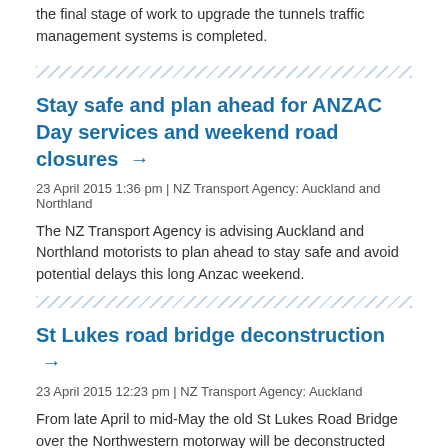the final stage of work to upgrade the tunnels traffic management systems is completed.
Stay safe and plan ahead for ANZAC Day services and weekend road closures →
23 April 2015 1:36 pm | NZ Transport Agency: Auckland and Northland
The NZ Transport Agency is advising Auckland and Northland motorists to plan ahead to stay safe and avoid potential delays this long Anzac weekend.
St Lukes road bridge deconstruction →
23 April 2015 12:23 pm | NZ Transport Agency: Auckland
From late April to mid-May the old St Lukes Road Bridge over the Northwestern motorway will be deconstructed and removed.